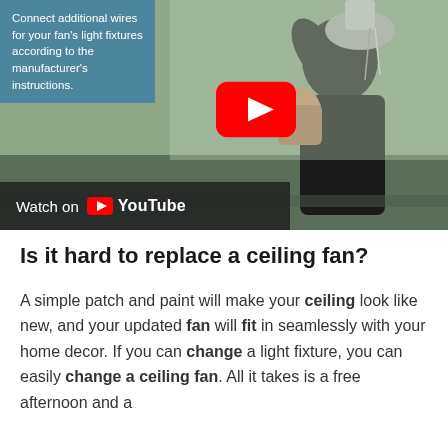[Figure (screenshot): YouTube video thumbnail showing a person installing a ceiling fan. A blue text overlay in the top-left reads 'Connect additional wires for your fan's light fixtures according to the manufacturer's instructions.' A large red YouTube play button is centered. A dark bar at the bottom shows 'Watch on YouTube'.]
Is it hard to replace a ceiling fan?
A simple patch and paint will make your ceiling look like new, and your updated fan will fit in seamlessly with your home decor. If you can change a light fixture, you can easily change a ceiling fan. All it takes is a free afternoon and a